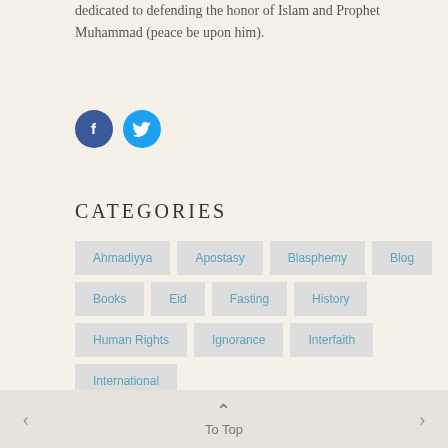dedicated to defending the honor of Islam and Prophet Muhammad (peace be upon him).
[Figure (infographic): Facebook and Twitter social media icon buttons — circular icons with white F and bird logos on dark blue/light blue backgrounds]
CATEGORIES
Ahmadiyya
Apostasy
Blasphemy
Blog
Books
Eid
Fasting
History
Human Rights
Ignorance
Interfaith
International
‹  ∧ To Top  ›